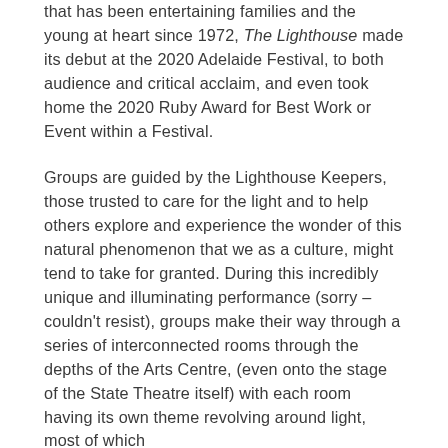that has been entertaining families and the young at heart since 1972, The Lighthouse made its debut at the 2020 Adelaide Festival, to both audience and critical acclaim, and even took home the 2020 Ruby Award for Best Work or Event within a Festival.
Groups are guided by the Lighthouse Keepers, those trusted to care for the light and to help others explore and experience the wonder of this natural phenomenon that we as a culture, might tend to take for granted. During this incredibly unique and illuminating performance (sorry – couldn't resist), groups make their way through a series of interconnected rooms through the depths of the Arts Centre, (even onto the stage of the State Theatre itself) with each room having its own theme revolving around light, most of which